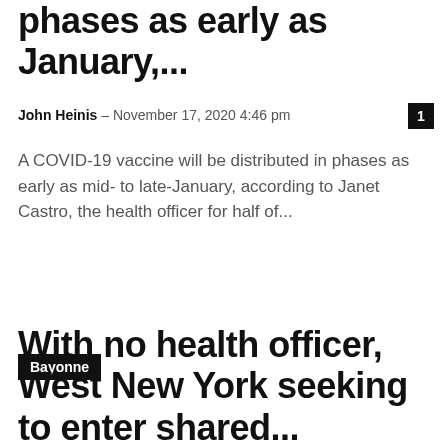phases as early as January,...
John Heinis – November 17, 2020 4:46 pm
1
A COVID-19 vaccine will be distributed in phases as early as mid- to late-January, according to Janet Castro, the health officer for half of...
Bayonne
With no health officer, West New York seeking to enter shared...